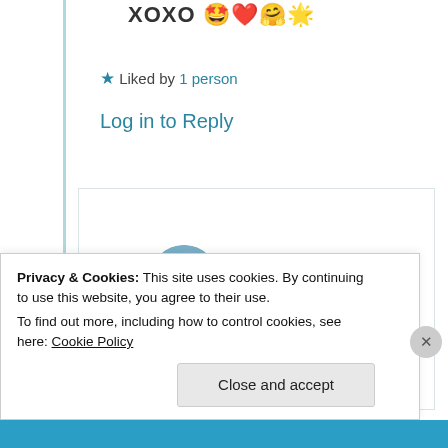XOXO 🤩❤️🤗🤗
★ Liked by 1 person
Log in to Reply
Aanchal Singh
2nd Jul 2021 at 1:14 pm
That's so sweet of you 🙂
Privacy & Cookies: This site uses cookies. By continuing to use this website, you agree to their use.
To find out more, including how to control cookies, see here: Cookie Policy
Close and accept